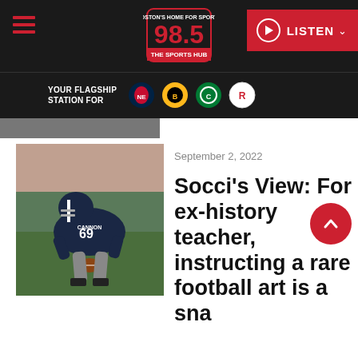98.5 The Sports Hub — Boston's Home for Sports
YOUR FLAGSHIP STATION FOR
September 2, 2022
[Figure (photo): New England Patriots football player in navy uniform with number 69, bent over in a snapping stance on the field]
Socci's View: For ex-history teacher, instructing a rare football art is a sna